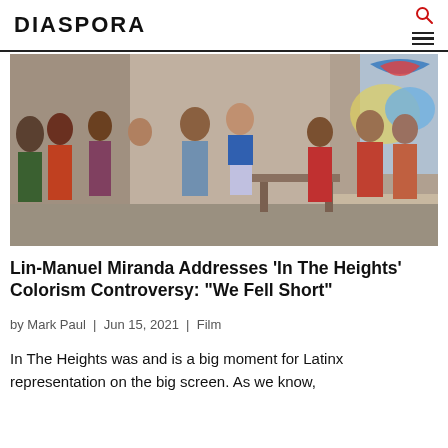DIASPORA
[Figure (photo): A dance scene from In The Heights movie showing two people dancing in a street party surrounded by a crowd of people in colorful outfits]
Lin-Manuel Miranda Addresses 'In The Heights' Colorism Controversy: “We Fell Short”
by Mark Paul | Jun 15, 2021 | Film
In The Heights was and is a big moment for Latinx representation on the big screen. As we know,